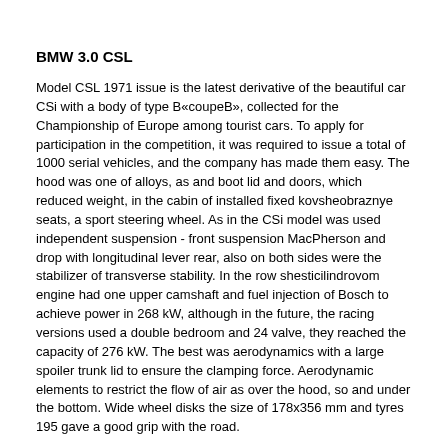BMW 3.0 CSL
Model CSL 1971 issue is the latest derivative of the beautiful car CSi with a body of type B«coupeB», collected for the Championship of Europe among tourist cars. To apply for participation in the competition, it was required to issue a total of 1000 serial vehicles, and the company has made them easy. The hood was one of alloys, as and boot lid and doors, which reduced weight, in the cabin of installed fixed kovsheobraznye seats, a sport steering wheel. As in the CSi model was used independent suspension - front suspension MacPherson and drop with longitudinal lever rear, also on both sides were the stabilizer of transverse stability. In the row shesticilindrovom engine had one upper camshaft and fuel injection of Bosch to achieve power in 268 kW, although in the future, the racing versions used a double bedroom and 24 valve, they reached the capacity of 276 kW. The best was aerodynamics with a large spoiler trunk lid to ensure the clamping force. Aerodynamic elements to restrict the flow of air as over the hood, so and under the bottom. Wide wheel disks the size of 178x356 mm and tyres 195 gave a good grip with the road.
Maximum speed: 212 km/h
0-95 km/h: of 7.6 seconds.